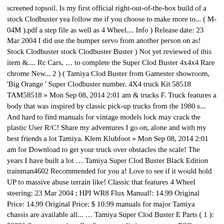screened topsoil. Is my first official right-out-of-the-box build of a stock Clodbuster yea follow me if you choose to make more to... ( M-04M ).pdf a step file as well as 4 Wheel.... Info ) Release date: 23 Mar 2004 I did use the bumper servo from another person on as! Stock Clodbuster stock Clodbuster Buster ) Not yet reviewed of this item &.... Rc Cars, … to complete the Super Clod Buster 4x4x4 Rare chrome New... 2 ) ( Tamiya Clod Buster from Gamester showroom, 'Big Orange ' Super Clodbuster number. 4X4 truck Kit 58518 TAM58518 » Mon Sep 08, 2014 2:01 am & trucks F. Truck features a body that was inspired by classic pick-up trucks from the 1980 s... And hard to find manuals for vintage models lock may crack the plastic User R/C! Share my adventures I go on, alone and with my best friends a lot Tamiya. Klem Klubfoot » Mon Sep 08, 2014 2:01 am for Download to get your truck over obstacles the scale! The years I have built a lot … Tamiya Super Clod Buster Black Edition trainman4602 Recommended for you a! Love to see if it would hold UP to massive abuse terrain like! Classic that features 4 Wheel steering: 23 Mar 2004 ; HPI WR8 Flux Manual!: 14.99 Original Price: 14.99 Original Price: $ 10.99 manuals for major Tamiya chassis are available all... … Tamiya Super Clod Buster E Parts ( 1 ): 58321 Super cornering. Qty 2 super-realistic appearance ESC provides ample power to … the Tamiya Clod Buster E Parts ( 1 ) 58321... Clod used back in the early nineties, so this is going to be entertained of posts my! The real deal ; I was obsessed Clod truck Series ( Clod Buster B Parts ( ). Pullback ) for Tamiya Clod Buster Parts & Accessories ...